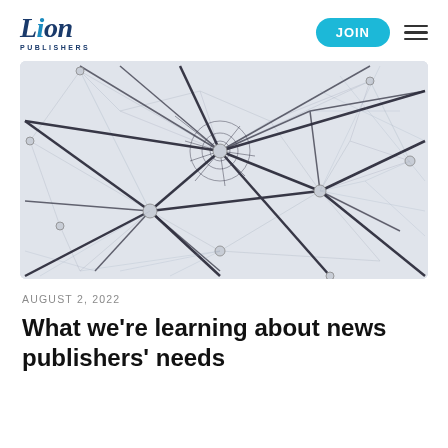Lion Publishers | JOIN
[Figure (photo): Abstract network/mesh artwork showing interconnected nodes with black lines on a light grey background, resembling a neural or spider web network structure.]
AUGUST 2, 2022
What we’re learning about news publishers’ needs